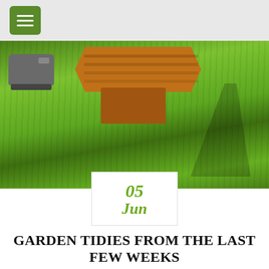[Figure (photo): Garden scene with green lawn, a hexagonal wooden bench/tree seat in the background, a lawnmower on the left, and a bird shadow cast on the grass in the foreground.]
05
Jun
GARDEN TIDIES FROM THE LAST FEW WEEKS
Steve White   Gardens
0 comment
Its been a busy few weeks the weather has been